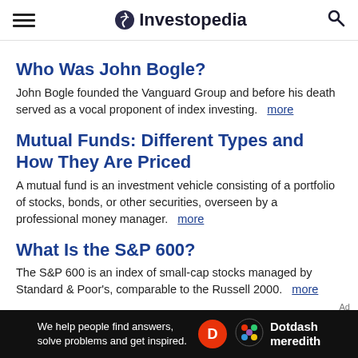Investopedia
Who Was John Bogle?
John Bogle founded the Vanguard Group and before his death served as a vocal proponent of index investing. more
Mutual Funds: Different Types and How They Are Priced
A mutual fund is an investment vehicle consisting of a portfolio of stocks, bonds, or other securities, overseen by a professional money manager. more
What Is the S&P 600?
The S&P 600 is an index of small-cap stocks managed by Standard & Poor's, comparable to the Russell 2000. more
Who Is Marc Crawford?
We help people find answers, solve problems and get inspired. Dotdash meredith